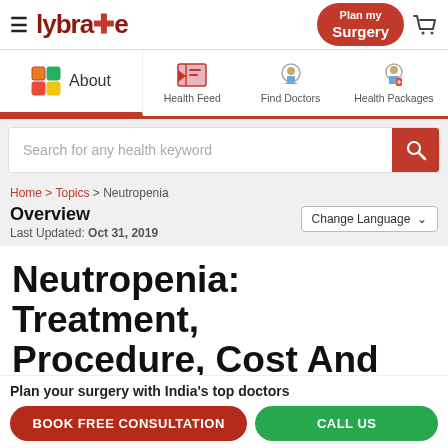[Figure (screenshot): Lybrate website header with logo, Plan my Surgery button, and cart icon]
[Figure (screenshot): Navigation tabs: About (active), Health Feed, Find Doctors, Health Packages]
[Figure (screenshot): Search bar with placeholder 'Search for any health keyword' and red search button]
Home > Topics > Neutropenia
Overview
Last Updated: Oct 31, 2019
Neutropenia: Treatment, Procedure, Cost And Side
Plan your surgery with India's top doctors
BOOK FREE CONSULTATION
CALL US